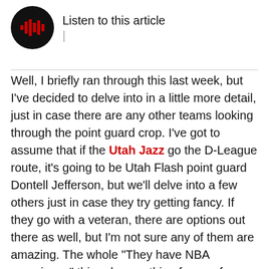[Figure (other): Audio player button: black circle with red sound wave/play icon, with text 'Listen to this article' and a pipe character below]
Well, I briefly ran through this last week, but I've decided to delve into in a little more detail, just in case there are any other teams looking through the point guard crop. I've got to assume that if the Utah Jazz go the D-League route, it's going to be Utah Flash point guard Dontell Jefferson, but we'll delve into a few others just in case they try getting fancy. If they go with a veteran, there are options out there as well, but I'm not sure any of them are amazing. The whole "They have NBA experience" thing does nothing for me, for future reference.